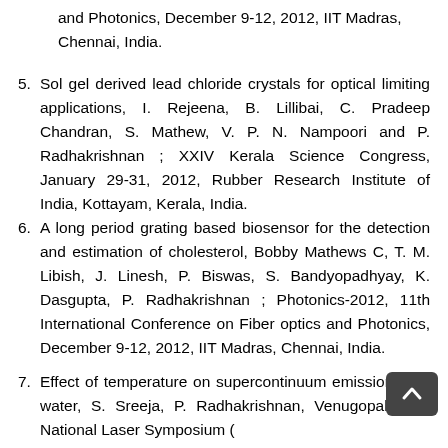(partial) 2012, 11th International Conference on Fiber Optics and Photonics, December 9-12, 2012, IIT Madras, Chennai, India.
5. Sol gel derived lead chloride crystals for optical limiting applications, I. Rejeena, B. Lillibai, C. Pradeep Chandran, S. Mathew, V. P. N. Nampoori and P. Radhakrishnan ; XXIV Kerala Science Congress, January 29-31, 2012, Rubber Research Institute of India, Kottayam, Kerala, India.
6. A long period grating based biosensor for the detection and estimation of cholesterol, Bobby Mathews C, T. M. Libish, J. Linesh, P. Biswas, S. Bandyopadhyay, K. Dasgupta, P. Radhakrishnan ; Photonics-2012, 11th International Conference on Fiber optics and Photonics, December 9-12, 2012, IIT Madras, Chennai, India.
7. Effect of temperature on supercontinuum emission from water, S. Sreeja, P. Radhakrishnan, Venugopal Rao; National Laser Symposium (NLS-20), January 9-12, 2013, Crystal Growth Centre, A...